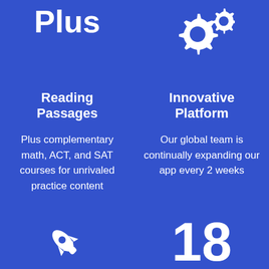Plus
[Figure (illustration): Two gear/settings icons in white on blue background]
Reading Passages
Innovative Platform
Plus complementary math, ACT, and SAT courses for unrivaled practice content
Our global team is continually expanding our app every 2 weeks
[Figure (illustration): Rocket ship icon in white on blue background]
18